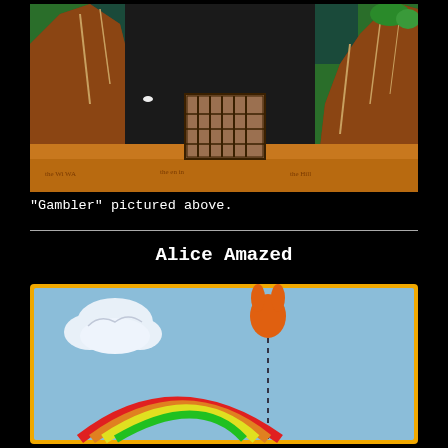[Figure (illustration): Illustrated scene of tall brown/red rock formations in a desert landscape with a wooden gate or entrance. Dark cave opening visible between rocks. Green foliage at top. Yellow/orange sandy ground.]
"Gambler" pictured above.
Alice Amazed
[Figure (illustration): Illustrated scene with a light blue sky background. A white fluffy cloud on the left. A orange rabbit-ear or flame shape balloon floating in the center attached by a dashed line going down. At the bottom, a rainbow arc with red, yellow, green bands visible.]